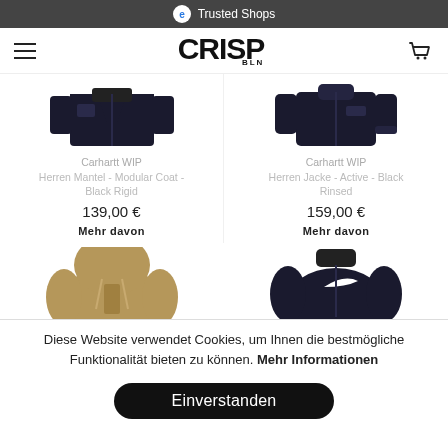Trusted Shops
[Figure (screenshot): CRISP BLN logo with hamburger menu and cart icon]
[Figure (photo): Carhartt WIP dark navy modular coat product image]
Carhartt WIP
Herren Mantel - Modular Coat - Black Rigid
139,00 €
Mehr davon
[Figure (photo): Carhartt WIP dark navy active jacket product image]
Carhartt WIP
Herren Jacke - Active - Black Rinsed
159,00 €
Mehr davon
[Figure (photo): Tan/beige hoodie product image (partially visible)]
[Figure (photo): Dark navy Nike jacket product image (partially visible)]
Diese Website verwendet Cookies, um Ihnen die bestmögliche Funktionalität bieten zu können. Mehr Informationen
Einverstanden